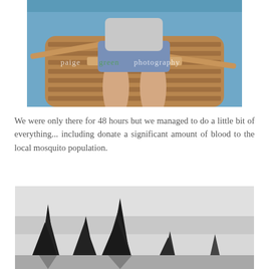[Figure (photo): Two people sitting in a wooden rowboat on water. The boat has oars extended. A watermark reads 'paige green photography' in white/green text across the middle of the image.]
We were only there for 48 hours but we managed to do a little bit of everything... including donate a significant amount of blood to the local mosquito population.
[Figure (photo): Black and white photograph of tall pine/fir trees silhouetted against a light grey overcast sky. The trees are reflected or mirrored at the bottom of the frame.]